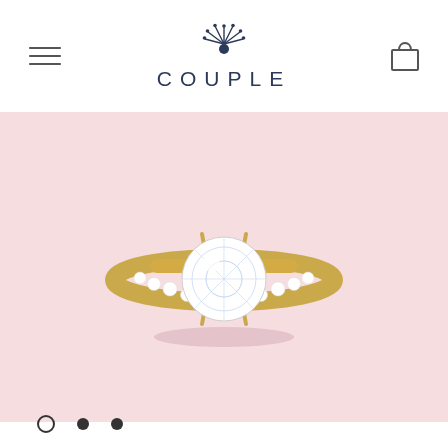COUPLE
[Figure (photo): Close-up product photo of a diamond engagement ring with a large round brilliant-cut center stone set in a yellow gold band with pavé diamond accents, on a soft pink background.]
[Figure (other): Carousel dot navigation indicators: three dots, first is an open circle (active), second and third are filled dark dots.]